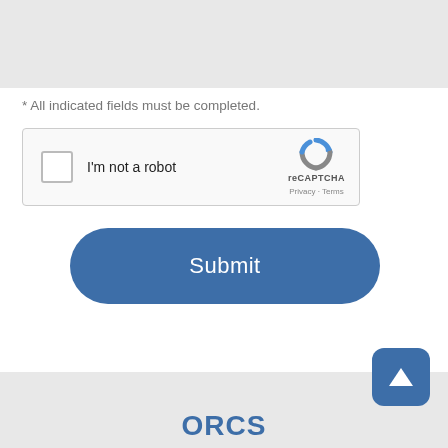[Figure (screenshot): Gray rectangle at top representing cropped form content area]
* All indicated fields must be completed.
[Figure (screenshot): reCAPTCHA widget with checkbox labeled I'm not a robot and reCAPTCHA logo with Privacy and Terms links]
[Figure (screenshot): Blue rounded Submit button]
[Figure (screenshot): Blue rounded square scroll-to-top button with white upward chevron]
[Figure (logo): ORCS logo text in blue at bottom footer]